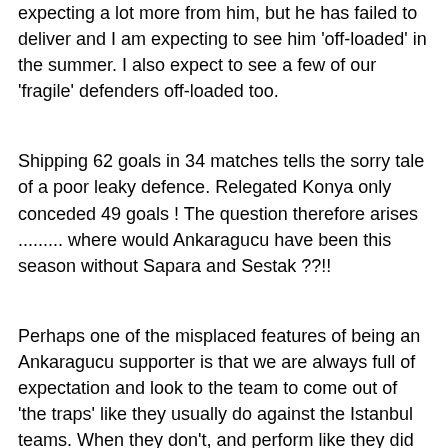expecting a lot more from him, but he has failed to deliver and I am expecting to see him 'off-loaded' in the summer. I also expect to see a few of our 'fragile' defenders off-loaded too.
Shipping 62 goals in 34 matches tells the sorry tale of a poor leaky defence. Relegated Konya only conceded 49 goals ! The question therefore arises ......... where would Ankaragucu have been this season without Sapara and Sestak ??!!
Perhaps one of the misplaced features of being an Ankaragucu supporter is that we are always full of expectation and look to the team to come out of 'the traps' like they usually do against the Istanbul teams. When they don't, and perform like they did yesterday in the first half, it is so bloody frustrating and we are left shaking our heads in anger. In fact we saw some of the Anti-X boys take action yesterday and leave the Stadium at half time !
Anyway, 'Oz Kanka Style Rant' over and back to the